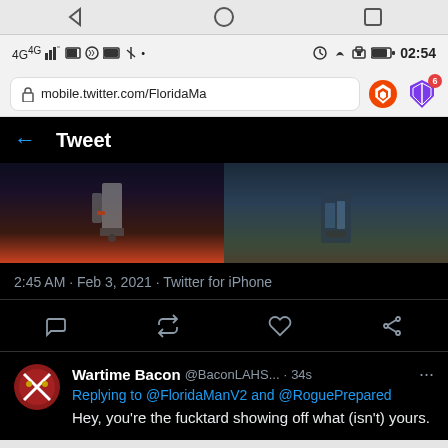[Figure (screenshot): Android phone status bar showing 4G signal, notification icons, clock showing 02:54]
[Figure (screenshot): Android navigation bar with back, home, and recents buttons]
[Figure (screenshot): Browser URL bar showing mobile.twitter.com/FloridaMa with Brave browser icon and ads badge showing 6]
[Figure (screenshot): Twitter mobile app showing Tweet detail header with back arrow]
[Figure (photo): Partial photo of person holding rifle/weapon, dark image]
2:45 AM · Feb 3, 2021 · Twitter for iPhone
[Figure (screenshot): Tweet action icons: reply, retweet, like, share]
Wartime Bacon @BaconLAHS... · 34s
Replying to @FloridaManV2 and @RoguePrepared
Hey, you're the fucktard showing off what (isn't) yours.